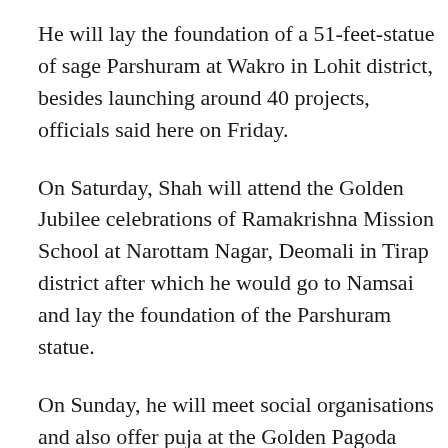He will lay the foundation of a 51-feet-statue of sage Parshuram at Wakro in Lohit district, besides launching around 40 projects, officials said here on Friday.
On Saturday, Shah will attend the Golden Jubilee celebrations of Ramakrishna Mission School at Narottam Nagar, Deomali in Tirap district after which he would go to Namsai and lay the foundation of the Parshuram statue.
On Sunday, he will meet social organisations and also offer puja at the Golden Pagoda near Tengapani in Namsai district.